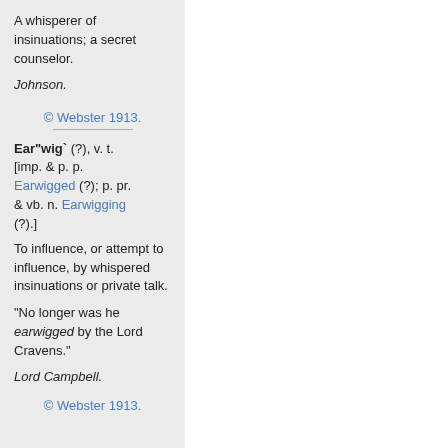A whisperer of insinuations; a secret counselor.
Johnson.
© Webster 1913.
Ear"wig` (?), v. t. [imp. & p. p. Earwigged (?); p. pr. & vb. n. Earwigging (?).]
To influence, or attempt to influence, by whispered insinuations or private talk.
"No longer was he earwigged by the Lord Cravens."
Lord Campbell.
© Webster 1913.